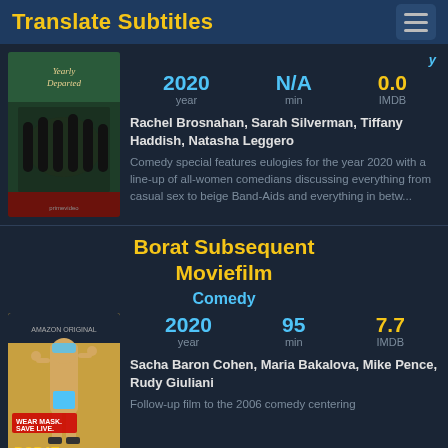Translate Subtitles
[Figure (photo): Yearly Departed movie poster - women in black on red carpet]
2020 year | N/A min | 0.0 IMDB
Rachel Brosnahan, Sarah Silverman, Tiffany Haddish, Natasha Leggero
Comedy special features eulogies for the year 2020 with a line-up of all-women comedians discussing everything from casual sex to beige Band-Aids and everything in betw...
Borat Subsequent Moviefilm
Comedy
2020 year | 95 min | 7.7 IMDB
[Figure (photo): Borat Subsequent Moviefilm movie poster - man in swimsuit with text WEAR MASK. SAVE LIVE.]
Sacha Baron Cohen, Maria Bakalova, Mike Pence, Rudy Giuliani
Follow-up film to the 2006 comedy centering